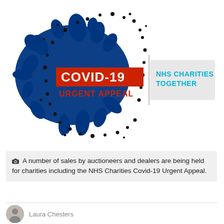[Figure (illustration): COVID-19 Urgent Appeal logo: a dark blue spiky virus blob graphic with black dots, featuring a red banner reading 'COVID-19' in bold white text and 'URGENT APPEAL' in red text below, alongside 'NHS CHARITIES TOGETHER' in teal/blue text on a light grey background, separated by a vertical grey line.]
A number of sales by auctioneers and dealers are being held for charities including the NHS Charities Covid-19 Urgent Appeal.
Laura Chesters